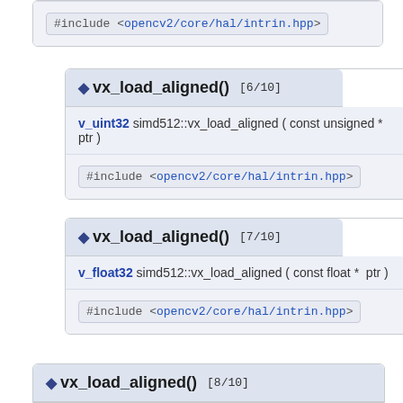#include <opencv2/core/hal/intrin.hpp>
◆ vx_load_aligned() [6/10]
v_uint32 simd512::vx_load_aligned ( const unsigned * ptr )
#include <opencv2/core/hal/intrin.hpp>
◆ vx_load_aligned() [7/10]
v_float32 simd512::vx_load_aligned ( const float * ptr )
#include <opencv2/core/hal/intrin.hpp>
◆ vx_load_aligned() [8/10]